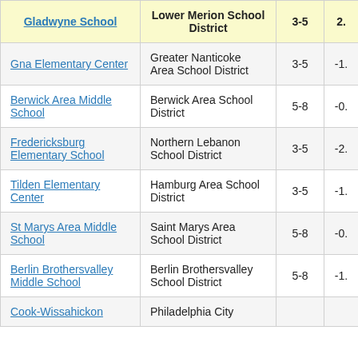| Gladwyne School | Lower Merion School District | 3-5 | 2. |
| --- | --- | --- | --- |
| Gna Elementary Center | Greater Nanticoke Area School District | 3-5 | -1. |
| Berwick Area Middle School | Berwick Area School District | 5-8 | -0. |
| Fredericksburg Elementary School | Northern Lebanon School District | 3-5 | -2. |
| Tilden Elementary Center | Hamburg Area School District | 3-5 | -1. |
| St Marys Area Middle School | Saint Marys Area School District | 5-8 | -0. |
| Berlin Brothersvalley Middle School | Berlin Brothersvalley School District | 5-8 | -1. |
| Cook-Wissahickon | Philadelphia City |  |  |